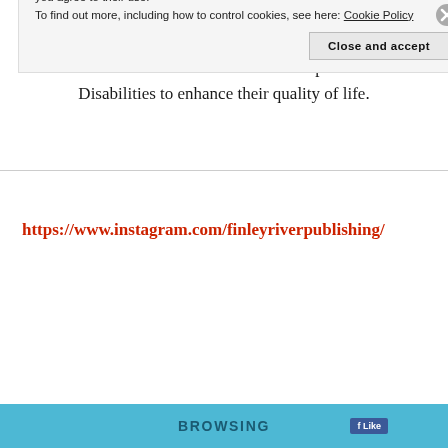above organization. They were co-founded as a nonprofit to provide services for Stone Co. in Missouri for residents with Developmental Disabilities to enhance their quality of life.
https://www.instagram.com/finleyriverpublishing/
Privacy & Cookies: This site uses cookies. By continuing to use this website, you agree to their use.
To find out more, including how to control cookies, see here: Cookie Policy
Close and accept
BROWSING